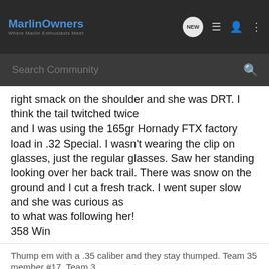MarlinOwners — Where Marlin Enthusiasts Meet
right smack on the shoulder and she was DRT. I think the tail twitched twice
and I was using the 165gr Hornady FTX factory load in .32 Special. I wasn't wearing the clip on glasses, just the regular glasses. Saw her standing looking over her back trail. There was snow on the ground and I cut a fresh track. I went super slow and she was curious as
to what was following her!
358 Win
Thump em with a .35 caliber and they stay thumped. Team 35 member #17. Team 3
[Figure (screenshot): Advertisement banner for Sharps Edge showing a firearm receiver with text EXCEPTIONAL DESIGNS. EXCEPTIONAL CRAFTSMANSHIP.]